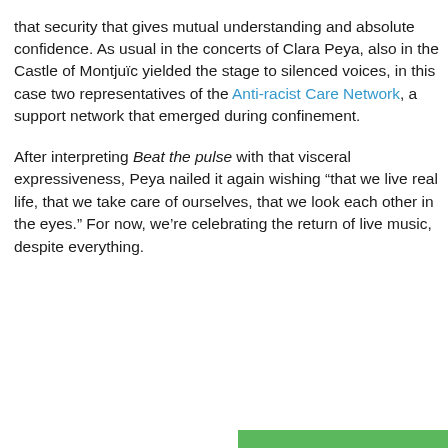that security that gives mutual understanding and absolute confidence. As usual in the concerts of Clara Peya, also in the Castle of Montjuïc yielded the stage to silenced voices, in this case two representatives of the Anti-racist Care Network, a support network that emerged during confinement.

After interpreting Beat the pulse with that visceral expressiveness, Peya nailed it again wishing “that we live real life, that we take care of ourselves, that we look each other in the eyes.” For now, we’re celebrating the return of live music, despite everything.